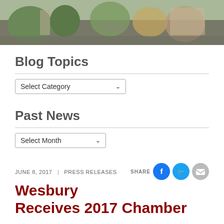[Figure (photo): Outdoor photo banner showing a community or campus entrance area with trees, greenery, a roundabout driveway, and buildings]
Blog Topics
Select Category
Past News
Select Month
JUNE 8, 2017  |  PRESS RELEASES
Wesbury Receives 2017 Chamber